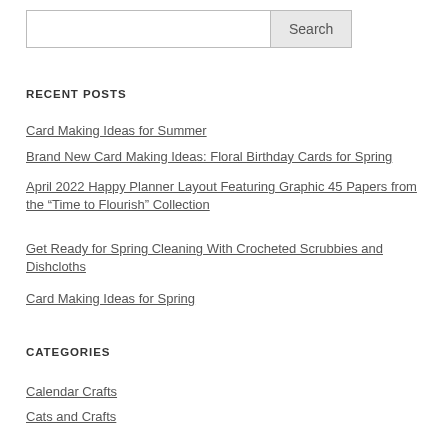Search
RECENT POSTS
Card Making Ideas for Summer
Brand New Card Making Ideas: Floral Birthday Cards for Spring
April 2022 Happy Planner Layout Featuring Graphic 45 Papers from the “Time to Flourish” Collection
Get Ready for Spring Cleaning With Crocheted Scrubbies and Dishcloths
Card Making Ideas for Spring
CATEGORIES
Calendar Crafts
Cats and Crafts